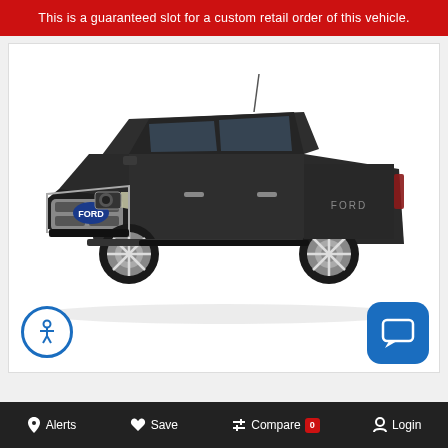This is a guaranteed slot for a custom retail order of this vehicle.
[Figure (photo): Black Ford F-150 pickup truck (high trim), three-quarter front view, shown on white background inside a vehicle listing card]
🔔 Alerts  ♥ Save  ⇌ Compare 0  👤 Login